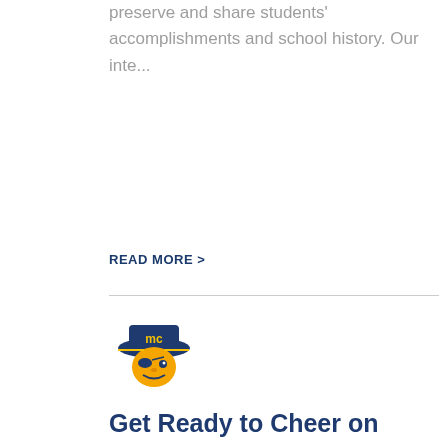preserve and share students' accomplishments and school history. Our inte...
READ MORE >
[Figure (logo): MC Pirates mascot logo — a pirate with gold and navy colors and 'mc' on hat]
Get Ready to Cheer on the Pirates and Lady Pirates! The 2021-2022 Athletic Schedule is Now Available
The Lady Pirates and Pirates are ready for an exciting year in athletics! Click...